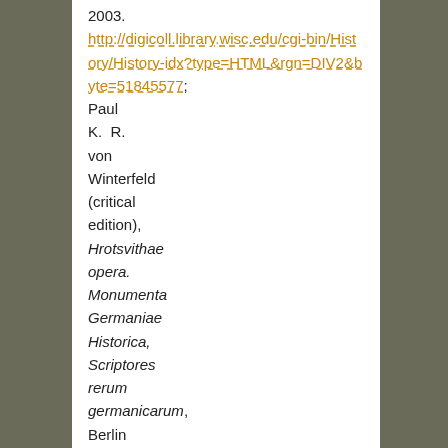2003. http://digicoll.library.wisc.edu/cgi-bin/History/History-idx?type=HTML&rgn=DIV2&byte=51845577; Paul K. R. von Winterfeld (critical edition), Hrotsvithae opera. Monumenta Germaniae Historica, Scriptores rerum germanicarum, Berlin (Wiedmann), 1902, Praemium